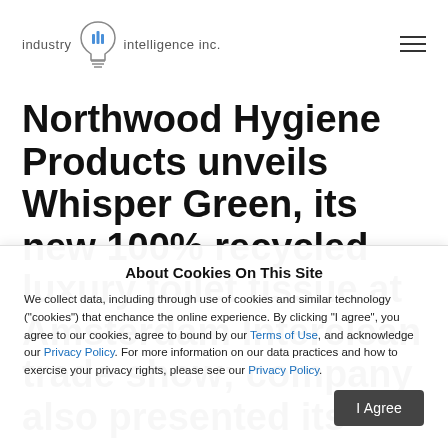industry intelligence inc.
Northwood Hygiene Products unveils Whisper Green, its new 100% recycled luxury toilet tissue at Amsterdam Interclean trade show; company also presented its
About Cookies On This Site
We collect data, including through use of cookies and similar technology ("cookies") that enchance the online experience. By clicking "I agree", you agree to our cookies, agree to bound by our Terms of Use, and acknowledge our Privacy Policy. For more information on our data practices and how to exercise your privacy rights, please see our Privacy Policy.